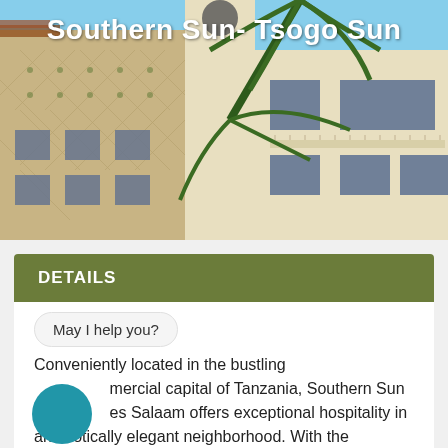[Figure (photo): Exterior photo of Southern Sun - Tsogo Sun hotel building showing a multi-storey cream/beige facade with windows, balconies, decorative diamond pattern cladding, palm tree fronds visible, and blue sky in background]
Southern Sun- Tsogo Sun
DETAILS
May I help you?
Conveniently located in the bustling commercial capital of Tanzania, Southern Sun Dar es Salaam offers exceptional hospitality in an exotically elegant neighborhood. With the